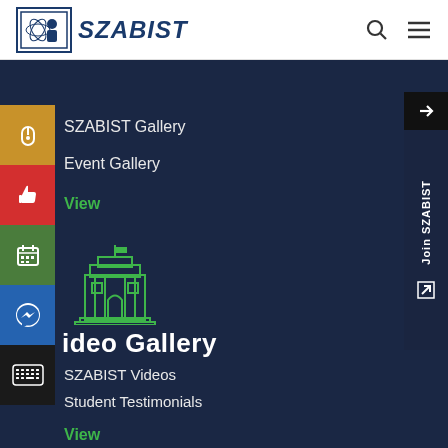[Figure (logo): SZABIST university logo with icon and bold italic text]
SZABIST Gallery
Event Gallery
View
[Figure (illustration): Building/institution icon in teal outline style]
ideo Gallery
SZABIST Videos
Student Testimonials
View